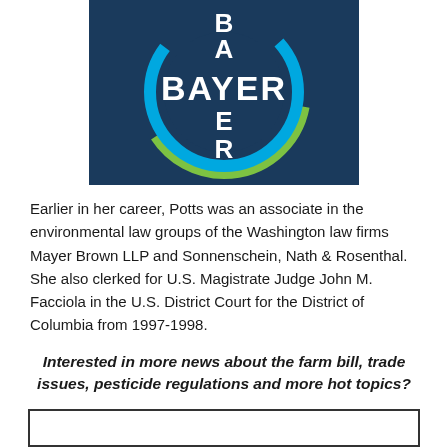[Figure (logo): Bayer company logo: dark navy circle background with white cross-shaped letters spelling BAYER vertically and horizontally, surrounded by cyan and green circular rings]
Earlier in her career, Potts was an associate in the environmental law groups of the Washington law firms Mayer Brown LLP and Sonnenschein, Nath & Rosenthal. She also clerked for U.S. Magistrate Judge John M. Facciola in the U.S. District Court for the District of Columbia from 1997-1998.
Interested in more news about the farm bill, trade issues, pesticide regulations and more hot topics?
[Figure (other): Empty rectangular box outline at bottom of page]